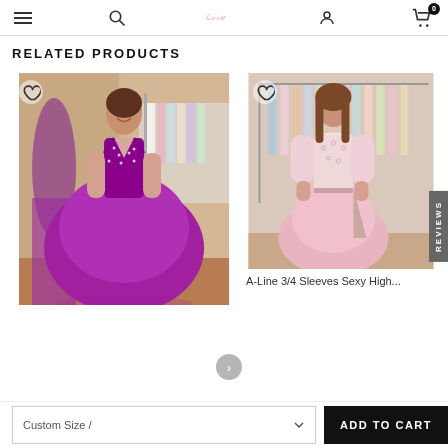Navigation bar with hamburger menu, search, logo, user icon, and cart (0 items)
RELATED PRODUCTS
[Figure (photo): Purple/magenta ball gown with deep V-neck and beaded bodice, worn by a woman in a dress shop]
[Figure (photo): Pink A-line gown with 3/4 lace sleeves and high slit, worn by a woman in a dress shop]
A-Line 3/4 Sleeves Sexy High...
Custom Size /
ADD TO CART